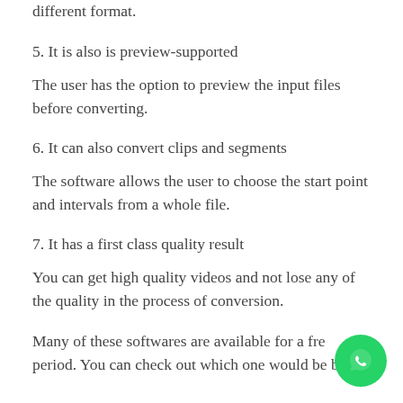different format.
5. It is also is preview-supported
The user has the option to preview the input files before converting.
6. It can also convert clips and segments
The software allows the user to choose the start point and intervals from a whole file.
7. It has a first class quality result
You can get high quality videos and not lose any of the quality in the process of conversion.
Many of these softwares are available for a free period. You can check out which one would be best